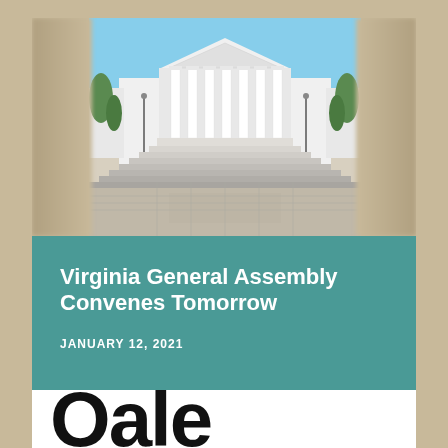[Figure (photo): Virginia State Capitol building with white columns and steps, blue sky background, blurred sides]
Virginia General Assembly Convenes Tomorrow
JANUARY 12, 2021
VIEW BLOG POST →
[Figure (photo): Partially visible large black text characters on white background at bottom of page]